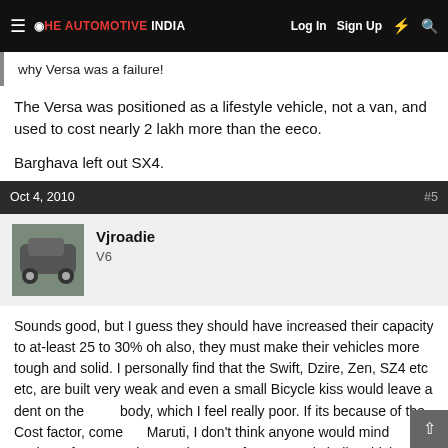THE AUTOMOTIVE INDIA | Log In  Sign Up
why Versa was a failure!
The Versa was positioned as a lifestyle vehicle, not a van, and used to cost nearly 2 lakh more than the eeco.
Barghava left out SX4.
Oct 4, 2010  #5
Vjroadie
V6
Sounds good, but I guess they should have increased their capacity to at-least 25 to 30% oh also, they must make their vehicles more tough and solid. I personally find that the Swift, Dzire, Zen, SZ4 etc etc, are built very weak and even a small Bicycle kiss would leave a dent on the body, which I feel really poor. If its because of the Cost factor, come on Maruti, I don't think anyone would mind paying a few more thousands extra for a strongly built vehicle. I have heard that the new Swift is more